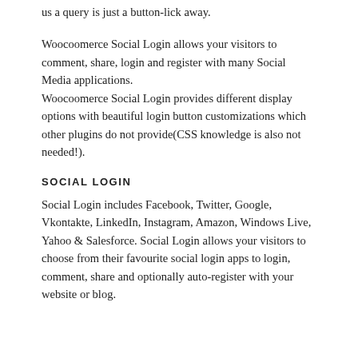us a query is just a button-lick away.
Woocoomerce Social Login allows your visitors to comment, share, login and register with many Social Media applications. Woocoomerce Social Login provides different display options with beautiful login button customizations which other plugins do not provide(CSS knowledge is also not needed!).
SOCIAL LOGIN
Social Login includes Facebook, Twitter, Google, Vkontakte, LinkedIn, Instagram, Amazon, Windows Live, Yahoo & Salesforce. Social Login allows your visitors to choose from their favourite social login apps to login, comment, share and optionally auto-register with your website or blog.